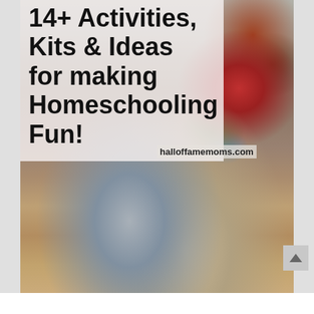[Figure (photo): A child sitting at a wooden table working with colorful blocks and a educational activity set, photographed from above/behind. The child is wearing a grey long-sleeve shirt. Colorful wooden blocks and a sorting activity tray with colored squares are visible on the table.]
14+ Activities, Kits & Ideas for making Homeschooling Fun!
halloffamemoms.com